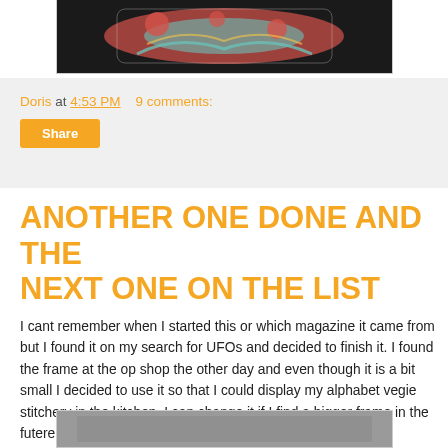[Figure (photo): Top portion of a photo showing a floral fabric item (bag/cushion) with red flowers and teal/aqua scrollwork on a dark background]
Doris at 4:53 PM    9 comments:
[Figure (other): Share button]
ANOTHER ONE DONE AND THE NEXT ONE ON THE LIST
I cant remember when I started this or which magazine it came from but I found it on my search for UFOs and decided to finish it. I found the frame at the op shop the other day and even though it is a bit small I decided to use it so that I could display my alphabet vegie stitchery in the kitchen. I can change it if I find a bigger frame in the futere.
[Figure (photo): Bottom portion of a photo, gray/silver toned image partially visible at page bottom]